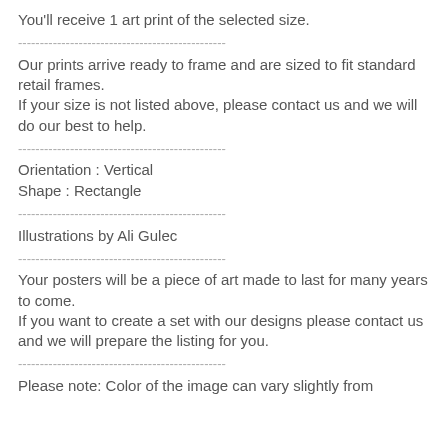You'll receive 1 art print of the selected size.
------------------------------------------------
Our prints arrive ready to frame and are sized to fit standard retail frames.
If your size is not listed above, please contact us and we will do our best to help.
------------------------------------------------
Orientation : Vertical
Shape : Rectangle
------------------------------------------------
Illustrations by Ali Gulec
------------------------------------------------
Your posters will be a piece of art made to last for many years to come.
If you want to create a set with our designs please contact us and we will prepare the listing for you.
------------------------------------------------
Please note: Color of the image can vary slightly from